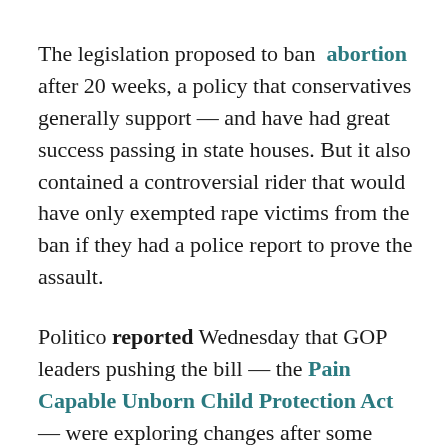The legislation proposed to ban abortion after 20 weeks, a policy that conservatives generally support — and have had great success passing in state houses. But it also contained a controversial rider that would have only exempted rape victims from the ban if they had a police report to prove the assault.
Politico reported Wednesday that GOP leaders pushing the bill — the Pain Capable Unborn Child Protection Act — were exploring changes after some female Republicans pulled their names from sponsorship in protest of the rape provision. Several GOP sources estimated that up to two dozen Republicans might vote against the ban. Ultimately